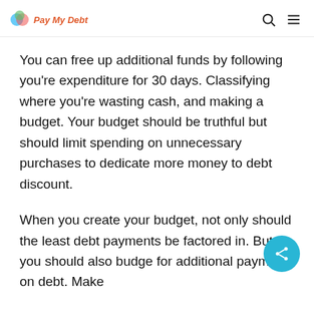Pay My Debt
You can free up additional funds by following you're expenditure for 30 days. Classifying where you're wasting cash, and making a budget. Your budget should be truthful but should limit spending on unnecessary purchases to dedicate more money to debt discount.
When you create your budget, not only should the least debt payments be factored in. But you should also budge for additional payments on debt. Make